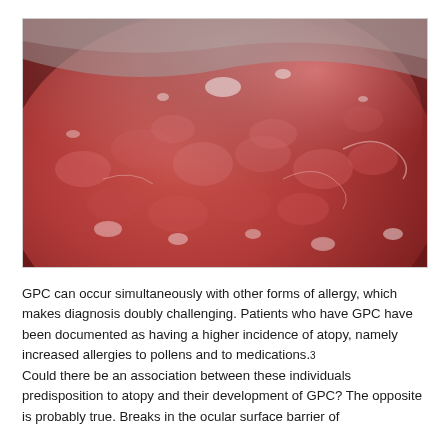[Figure (photo): Close-up clinical photograph of giant papillary conjunctivitis (GPC) showing red, inflamed tissue with papillae — a bumpy, pink-red mucosal surface with white highlights and mucus strands visible.]
GPC can occur simultaneously with other forms of allergy, which makes diagnosis doubly challenging. Patients who have GPC have been documented as having a higher incidence of atopy, namely increased allergies to pollens and to medications.3 Could there be an association between these individuals predisposition to atopy and their development of GPC? The opposite is probably true. Breaks in the ocular surface barrier of